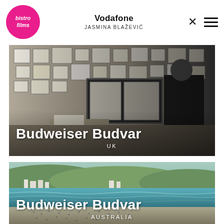[Figure (logo): Bistro Films logo — white script text on a pink/magenta circle]
Vodafone
JASMINA BLAŽEVIĆ
[Figure (photo): Indoor room scene: an elderly man with white hair wearing a dark shirt stands in a room with black-and-white photographs covering the wall behind him. Text overlay reads 'Budweiser Budvar' and 'UK']
[Figure (photo): Aerial/wide beach scene showing a crowded sandy beach with ocean waves, and a coastal town with green hills in the background. Text overlay reads 'Budweiser Budvar' and 'AUSTRALIA']